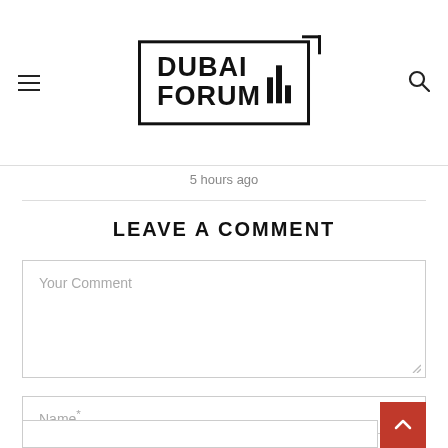Dubai Forum logo header with hamburger menu and search icon
5 hours ago
LEAVE A COMMENT
Your Comment
Name*